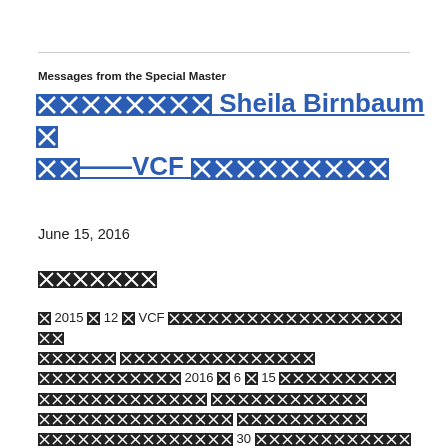Messages from the Special Master
████████ Sheila Birnbaum ██——VCF █████████
June 15, 2016
███████
█ 2015 █ 12 █ VCF ███████████████████████████████████ ██████ 2016 █ 6 █ 15 ████████████████████████ ██████████████████████████████████████ ███████████████ 30 ████████████ ████████